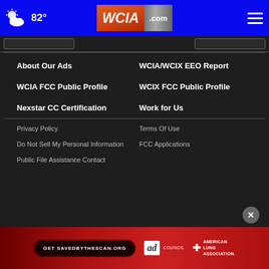82° WCIA.com
About Our Ads
WCIA/WCIX EEO Report
WCIA FCC Public Profile
WCIX FCC Public Profile
Nexstar CC Certification
Work for Us
Privacy Policy
Terms Of Use
Do Not Sell My Personal Information
FCC Applications
Public File Assistance Contact
[Figure (screenshot): Get SAVEDBYTHESCAN.ORG advertisement banner with Ad Council and American Lung Association logos]